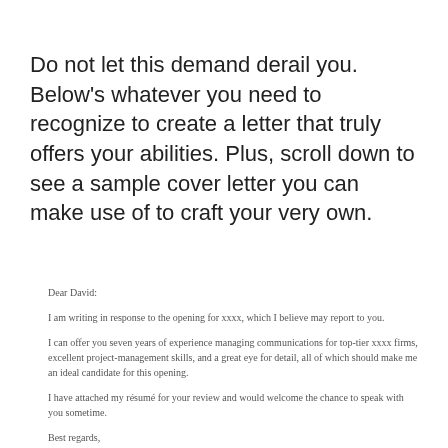Do not let this demand derail you. Below's whatever you need to recognize to create a letter that truly offers your abilities. Plus, scroll down to see a sample cover letter you can make use of to craft your very own.
Dear David:
I am writing in response to the opening for xxxx, which I believe may report to you.
I can offer you seven years of experience managing communications for top-tier xxxx firms, excellent project-management skills, and a great eye for detail, all of which should make me an ideal candidate for this opening.
I have attached my résumé for your review and would welcome the chance to speak with you sometime.
Best regards,